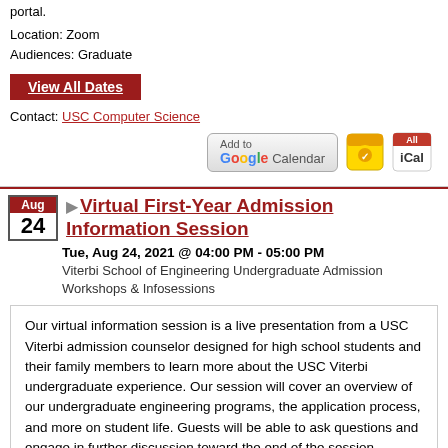portal.
Location: Zoom
Audiences: Graduate
View All Dates
Contact: USC Computer Science
[Figure (other): Add to Google Calendar button, Yahoo Calendar icon, and iCal icon]
Virtual First-Year Admission Information Session
Tue, Aug 24, 2021 @ 04:00 PM - 05:00 PM
Viterbi School of Engineering Undergraduate Admission Workshops & Infosessions
Our virtual information session is a live presentation from a USC Viterbi admission counselor designed for high school students and their family members to learn more about the USC Viterbi undergraduate experience. Our session will cover an overview of our undergraduate engineering programs, the application process, and more on student life. Guests will be able to ask questions and engage in further discussion toward the end of the session.